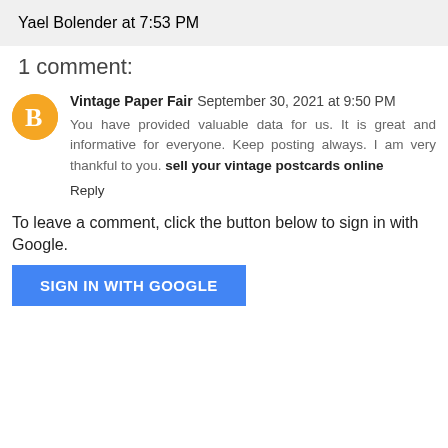Yael Bolender at 7:53 PM
1 comment:
Vintage Paper Fair September 30, 2021 at 9:50 PM
You have provided valuable data for us. It is great and informative for everyone. Keep posting always. I am very thankful to you. sell your vintage postcards online
Reply
To leave a comment, click the button below to sign in with Google.
SIGN IN WITH GOOGLE